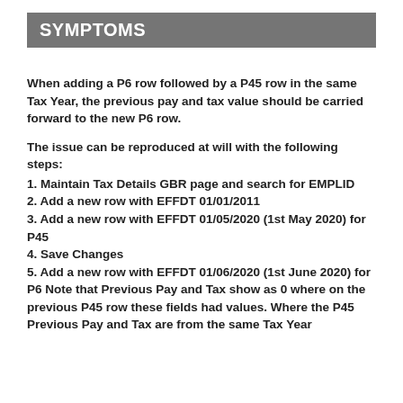SYMPTOMS
When adding a P6 row followed by a P45 row in the same Tax Year, the previous pay and tax value should be carried forward to the new P6 row.
The issue can be reproduced at will with the following steps:
1. Maintain Tax Details GBR page and search for EMPLID
2. Add a new row with EFFDT 01/01/2011
3. Add a new row with EFFDT 01/05/2020 (1st May 2020) for P45
4. Save Changes
5. Add a new row with EFFDT 01/06/2020 (1st June 2020) for P6 Note that Previous Pay and Tax show as 0 where on the previous P45 row these fields had values. Where the P45 Previous Pay and Tax are from the same Tax Year